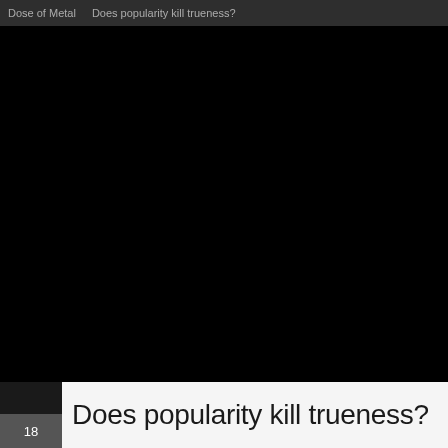Dose of Metal   Does popularity kill trueness?
[Figure (other): Large black rectangle area representing a dark/black image or video frame]
Does popularity kill trueness?
18